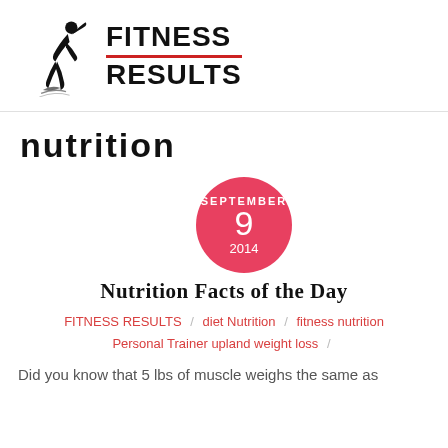[Figure (logo): Fitness Results logo with stylized figure and bold text FITNESS RESULTS with red horizontal line]
NUTRITION
[Figure (infographic): Red circle date badge showing SEPTEMBER 9 2014]
Nutrition Facts of the Day
FITNESS RESULTS / diet Nutrition / fitness nutrition Personal Trainer upland weight loss /
Did you know that 5 lbs of muscle weighs the same as